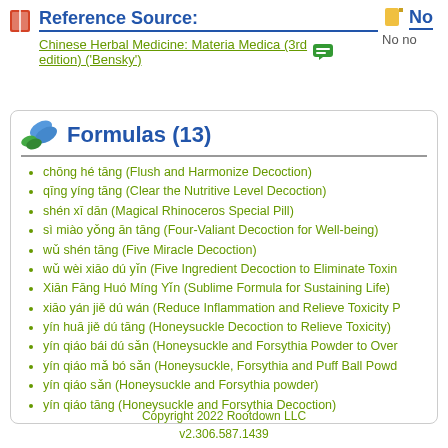Reference Source:
Chinese Herbal Medicine: Materia Medica (3rd edition) ('Bensky')
No notes
No no
Formulas (13)
chōng hé tāng (Flush and Harmonize Decoction)
qīng yíng tāng (Clear the Nutritive Level Decoction)
shén xī dān (Magical Rhinoceros Special Pill)
sì miào yǒng ān tāng (Four-Valiant Decoction for Well-being)
wǔ shén tāng (Five Miracle Decoction)
wǔ wèi xiāo dú yǐn (Five Ingredient Decoction to Eliminate Toxin)
Xiān Fāng Huó Míng Yǐn (Sublime Formula for Sustaining Life)
xiāo yán jiě dú wán (Reduce Inflammation and Relieve Toxicity P...)
yín huā jiě dú tāng (Honeysuckle Decoction to Relieve Toxicity)
yín qiáo bái dú sǎn (Honeysuckle and Forsythia Powder to Over...)
yín qiáo mǎ bó sǎn (Honeysuckle, Forsythia and Puff Ball Powd...)
yín qiáo sǎn (Honeysuckle and Forsythia powder)
yín qiáo tāng (Honeysuckle and Forsythia Decoction)
Copyright 2022 Rootdown LLC
v2.306.587.1439